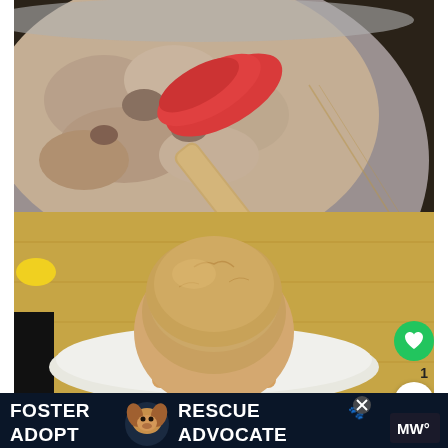[Figure (photo): Close-up photo of banana bread or muffin batter in a metal mixing bowl being stirred with a red silicone spatula with a wooden handle]
[Figure (photo): A golden-brown banana muffin on a white plate with wooden surface in background; a yellow banana visible at far left]
[Figure (infographic): Advertisement banner with dark background showing text FOSTER ADOPT with dog icon and RESCUE ADVOCATE text in white bold letters, with a close button]